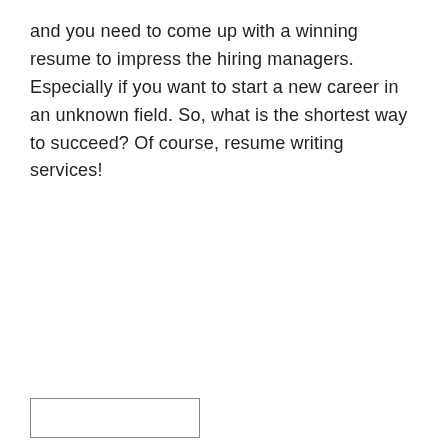and you need to come up with a winning resume to impress the hiring managers. Especially if you want to start a new career in an unknown field. So, what is the shortest way to succeed? Of course, resume writing services!